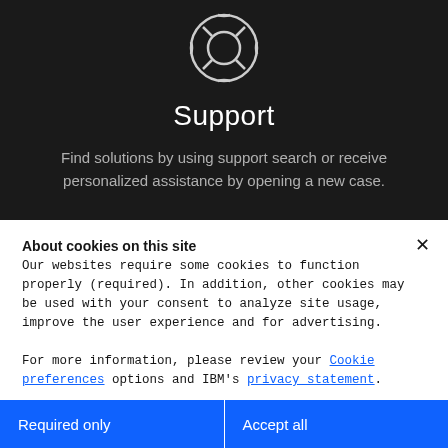[Figure (illustration): Life buoy / support icon, white outline on dark background]
Support
Find solutions by using support search or receive personalized assistance by opening a new case.
About cookies on this site
Our websites require some cookies to function properly (required). In addition, other cookies may be used with your consent to analyze site usage, improve the user experience and for advertising.

For more information, please review your Cookie preferences options and IBM's privacy statement.